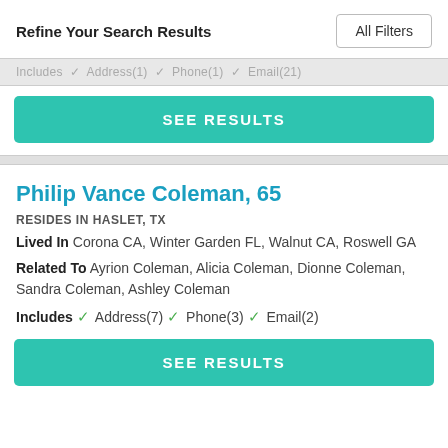Refine Your Search Results
Includes   Address(1)   Phone(1)   Email(21)
SEE RESULTS
Philip Vance Coleman, 65
RESIDES IN HASLET, TX
Lived In Corona CA, Winter Garden FL, Walnut CA, Roswell GA
Related To Ayrion Coleman, Alicia Coleman, Dionne Coleman, Sandra Coleman, Ashley Coleman
Includes ✓ Address(7) ✓ Phone(3) ✓ Email(2)
SEE RESULTS